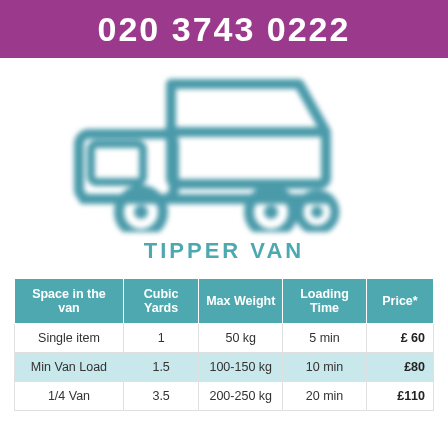020 3743 0222
[Figure (illustration): Teal/blue illustrated icon of a tipper van / skip truck, slightly blurred]
TIPPER VAN
| Space in the van | Cubic Yards | Max Weight | Loading Time | Price* |
| --- | --- | --- | --- | --- |
| Single item | 1 | 50 kg | 5 min | £ 60 |
| Min Van Load | 1.5 | 100-150 kg | 10 min | £80 |
| 1/4 Van | 3.5 | 200-250 kg | 20 min | £110 |